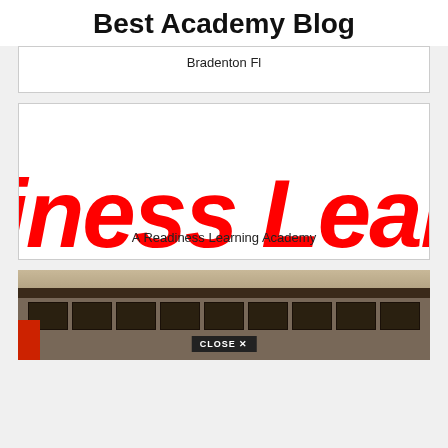Best Academy Blog
Bradenton Fl
[Figure (logo): Logo with large red bold italic text reading 'iness Learni' (Business Learning clipped) and subtitle 'A Readiness Learning Academy']
A Readiness Learning Academy
[Figure (photo): Photo of a school building exterior with dark roof and covered walkway, with a CLOSE X button overlay]